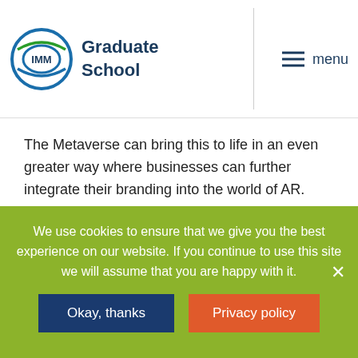IMM Graduate School
The Metaverse can bring this to life in an even greater way where businesses can further integrate their branding into the world of AR. Through the Metaverse, your brand can act as a “person” or “user”, adopt a personality and somewhat become a celebrity.. Your imagination is the only limitation to how your brand could be integrated into this new community of people.
TBWA’s Asia head of innovation, Tessa Conrad, mentions Wendy’s as “one of my favourite examples of brands exploring the metaverse over the past couple years”. They have really
We use cookies to ensure that we give you the best experience on our website. If you continue to use this site we will assume that you are happy with it.